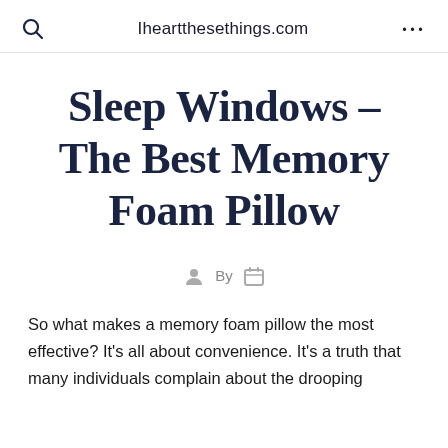Iheartthesethings.com
Sleep Windows – The Best Memory Foam Pillow
By
So what makes a memory foam pillow the most effective? It's all about convenience. It's a truth that many individuals complain about the drooping